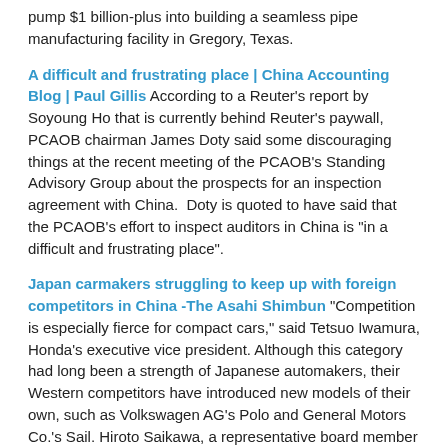pump $1 billion-plus into building a seamless pipe manufacturing facility in Gregory, Texas.
A difficult and frustrating place | China Accounting Blog | Paul Gillis According to a Reuter's report by Soyoung Ho that is currently behind Reuter's paywall, PCAOB chairman James Doty said some discouraging things at the recent meeting of the PCAOB's Standing Advisory Group about the prospects for an inspection agreement with China. Doty is quoted to have said that the PCAOB's effort to inspect auditors in China is "in a difficult and frustrating place".
Japan carmakers struggling to keep up with foreign competitors in China -The Asahi Shimbun "Competition is especially fierce for compact cars," said Tetsuo Iwamura, Honda's executive vice president. Although this category had long been a strength of Japanese automakers, their Western competitors have introduced new models of their own, such as Volkswagen AG's Polo and General Motors Co.'s Sail. Hiroto Saikawa, a representative board member of Nissan, said, "The effects (of increased competition) are greater for manufacturers that have a higher proportion of smaller vehicles."
China ETF Demand Overwhelms Quota as Premium Surges – Bloomberg The $633.5 million X-trackers Harvest CSI 300 China A-Shares ETF closed 5.1 percent above the value of its holdings on Nov